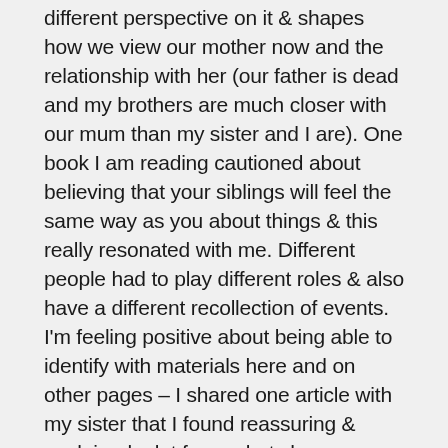different perspective on it & shapes how we view our mother now and the relationship with her (our father is dead and my brothers are much closer with our mum than my sister and I are). One book I am reading cautioned about believing that your siblings will feel the same way as you about things & this really resonated with me. Different people had to play different roles & also have a different recollection of events. I'm feeling positive about being able to identify with materials here and on other pages – I shared one article with my sister that I found reassuring & explained a lot for me but she was bemused & slightly confused by it (although it did resonate with her).